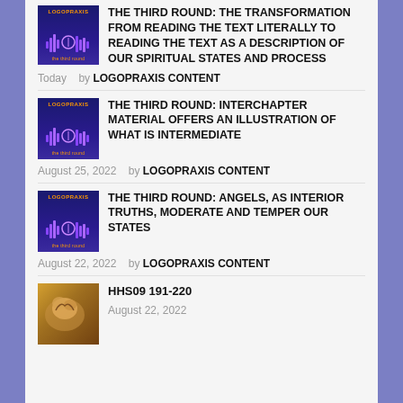[Figure (illustration): Logopraxis podcast thumbnail with blue/purple background, waveform graphics, and 'the third round' text]
THE THIRD ROUND: THE TRANSFORMATION FROM READING THE TEXT LITERALLY TO READING THE TEXT AS A DESCRIPTION OF OUR SPIRITUAL STATES AND PROCESS
Today by LOGOPRAXIS CONTENT
[Figure (illustration): Logopraxis podcast thumbnail with blue/purple background, waveform graphics, and 'the third round' text]
THE THIRD ROUND: INTERCHAPTER MATERIAL OFFERS AN ILLUSTRATION OF WHAT IS INTERMEDIATE
August 25, 2022 by LOGOPRAXIS CONTENT
[Figure (illustration): Logopraxis podcast thumbnail with blue/purple background, waveform graphics, and 'the third round' text]
THE THIRD ROUND: ANGELS, AS INTERIOR TRUTHS, MODERATE AND TEMPER OUR STATES
August 22, 2022 by LOGOPRAXIS CONTENT
[Figure (photo): Golden/brown image with sculptural or animal figure]
HHS09 191-220
August 22, 2022